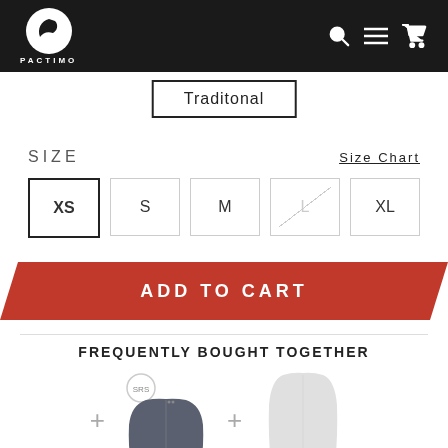PACTIMO
Traditonal
SIZE   Size Chart
XS  S  M  L  XL
ADD TO CART
FREQUENTLY BOUGHT TOGETHER
[Figure (photo): Two cycling shorts products shown side by side with plus signs between them]